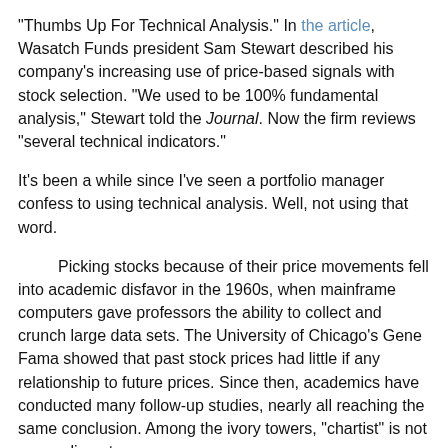"Thumbs Up For Technical Analysis." In the article, Wasatch Funds president Sam Stewart described his company's increasing use of price-based signals with stock selection. "We used to be 100% fundamental analysis," Stewart told the Journal. Now the firm reviews "several technical indicators."
It's been a while since I've seen a portfolio manager confess to using technical analysis. Well, not using that word.
Picking stocks because of their price movements fell into academic disfavor in the 1960s, when mainframe computers gave professors the ability to collect and crunch large data sets. The University of Chicago's Gene Fama showed that past stock prices had little if any relationship to future prices. Since then, academics have conducted many follow-up studies, nearly all reaching the same conclusion. Among the ivory towers, "chartist" is not a compliment.
The investment industry retained its faith for a little longer, but by